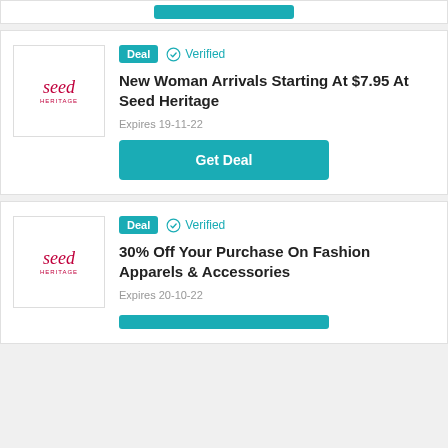[Figure (logo): Seed Heritage brand logo with red italic text]
Deal  ✓ Verified
New Woman Arrivals Starting At $7.95 At Seed Heritage
Expires 19-11-22
Get Deal
[Figure (logo): Seed Heritage brand logo with red italic text]
Deal  ✓ Verified
30% Off Your Purchase On Fashion Apparels & Accessories
Expires 20-10-22